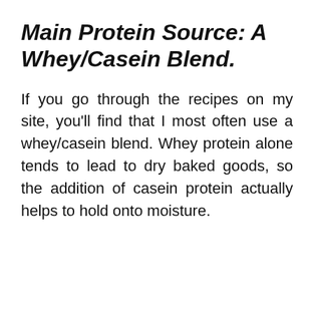Main Protein Source: A Whey/Casein Blend.
If you go through the recipes on my site, you'll find that I most often use a whey/casein blend. Whey protein alone tends to lead to dry baked goods, so the addition of casein protein actually helps to hold onto moisture.